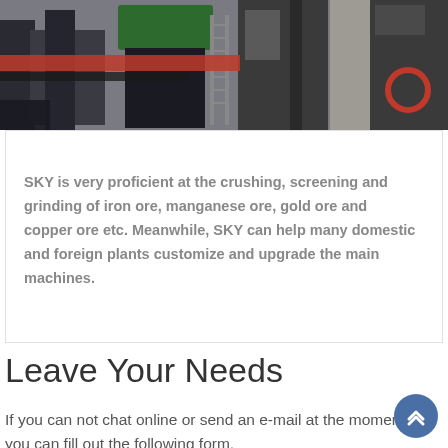[Figure (photo): Industrial machinery and equipment on a rooftop or outdoor industrial site, showing metal structures, pipes, ladders, and large processing machines against a building backdrop.]
SKY is very proficient at the crushing, screening and grinding of iron ore, manganese ore, gold ore and copper ore etc. Meanwhile, SKY can help many domestic and foreign plants customize and upgrade the main machines.
Leave Your Needs
If you can not chat online or send an e-mail at the moment, you can fill out the following form,